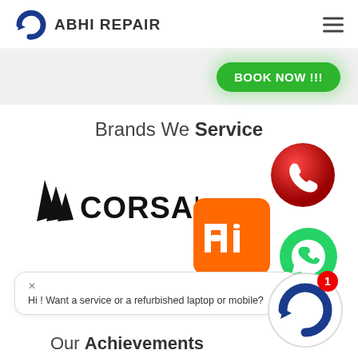ABHI REPAIR
[Figure (logo): Green BOOK NOW button with rounded rectangle]
Brands We Service
[Figure (logo): Corsair logo with sail/crest icon and CORSAIR text]
[Figure (logo): Red glossy phone call icon circle]
[Figure (logo): Xiaomi Mi orange square logo with white Mi mark]
[Figure (logo): WhatsApp green circle icon]
Hi ! Want a service or a refurbished laptop or mobile?
[Figure (logo): Abhi Repair AR circular avatar with notification badge showing 1]
Our Achievements